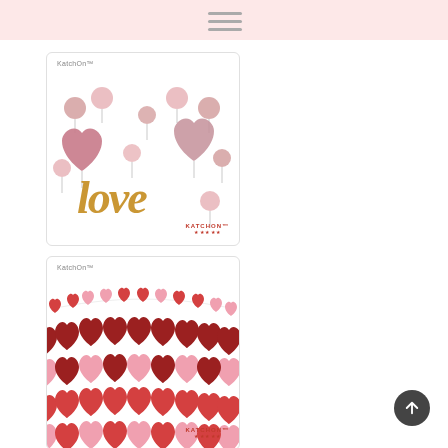[Figure (photo): Rose gold love balloons product image with heart shaped foil balloons and round metallic rose gold balloons spelling 'love', KatchOn branded]
[Figure (photo): Heart garland banner product image showing multiple strands of red, dark red, and pink felt heart bunting banners, KatchOn branded]